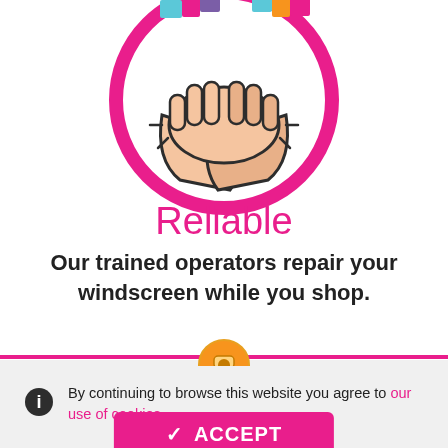[Figure (illustration): A handshake icon inside a pink circle, colorful geometric pattern hands shaking, flat icon style.]
Reliable
Our trained operators repair your windscreen while you shop.
[Figure (illustration): Partial view of next section icon (orange/gold circular icon partially visible at bottom of section)]
By continuing to browse this website you agree to our use of cookies
ACCEPT